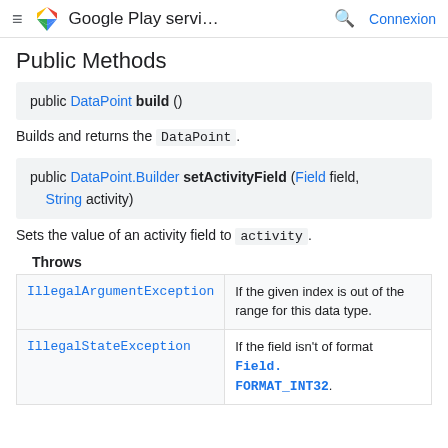≡ Google Play servi... 🔍 Connexion
Public Methods
public DataPoint build ()
Builds and returns the DataPoint.
public DataPoint.Builder setActivityField (Field field, String activity)
Sets the value of an activity field to activity.
Throws
| Exception | Description |
| --- | --- |
| IllegalArgumentException | If the given index is out of the range for this data type. |
| IllegalStateException | If the field isn't of format Field.FORMAT_INT32. |